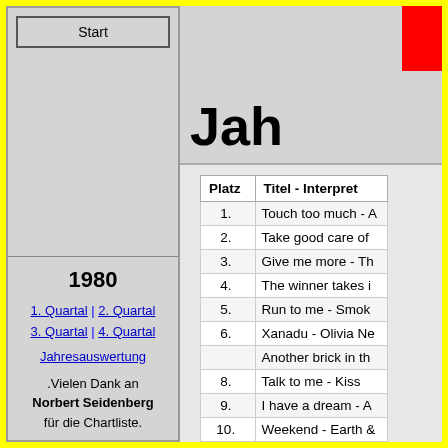Start
Jah
1980
1. Quartal | 2. Quartal
3. Quartal | 4. Quartal
Jahresauswertung
.Vielen Dank an Norbert Seidenberg für die Chartliste.
| Platz | Titel - Interpret |
| --- | --- |
| 1. | Touch too much - A... |
| 2. | Take good care of... |
| 3. | Give me more - Th... |
| 4. | The winner takes i... |
| 5. | Run to me - Smok... |
| 6. | Xanadu - Olivia Ne... |
|  | Another brick in th... |
| 8. | Talk to me - Kiss |
| 9. | I have a dream - A... |
| 10. | Weekend - Earth &... |